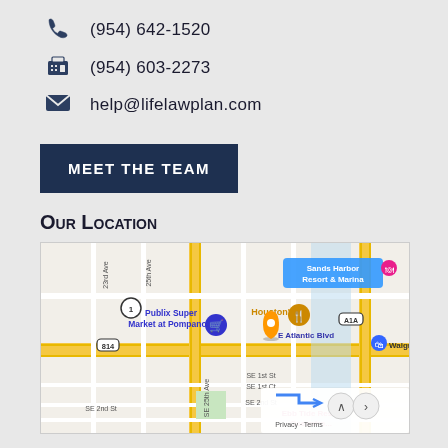(954) 642-1520
(954) 603-2273
help@lifelawplan.com
MEET THE TEAM
Our Location
[Figure (map): Google Maps showing the area around E Atlantic Blvd, Pompano Beach, FL, with markers for Publix Super Market at Pompano, Houston's, Sands Harbor Resort & Marina, Walgreens, and Ebb Tide Resort Oceanfront. Streets visible include 23rd Ave, 25th Ave, SE 25th Ave, SE 1st St, SE 1st Ct, SE 2nd St. Road 814 and A1A are labeled.]
Connect with Us